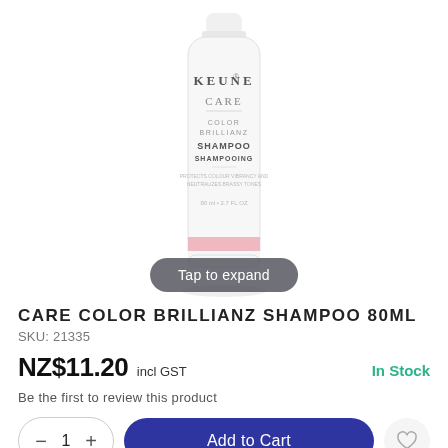[Figure (photo): Keune Care Color Brillianz Shampoo 80ml white bottle with pink accent band at bottom, on white background. A 'Tap to expand' button overlay at the bottom of the image area.]
CARE COLOR BRILLIANZ SHAMPOO 80ML
SKU: 21335
NZ$11.20 incl GST
In Stock
Be the first to review this product
Add to Cart